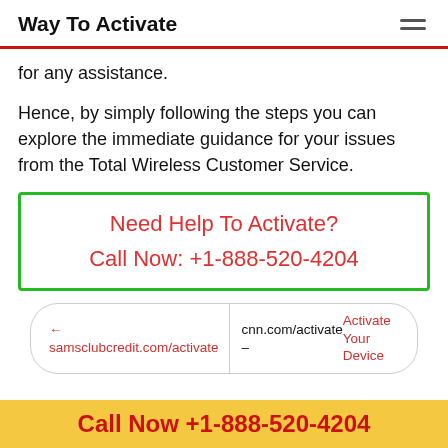Way To Activate
for any assistance.
Hence, by simply following the steps you can explore the immediate guidance for your issues from the Total Wireless Customer Service.
[Figure (infographic): Green-bordered call-to-action box with red text: 'Need Help To Activate?' and 'Call Now: +1-888-520-4204']
← samsclubcredit.com/activate   cnn.com/activate – Activate Your Device
Call Now +1-888-520-4204